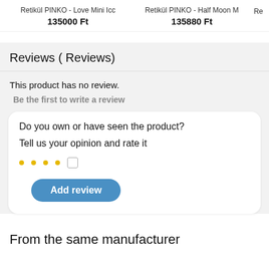Retikül PINKO - Love Mini Ico   135000 Ft
Retikül PINKO - Half Moon M   135880 Ft
Reviews ( Reviews)
This product has no review.
Be the first to write a review
Do you own or have seen the product?
Tell us your opinion and rate it
Add review
From the same manufacturer